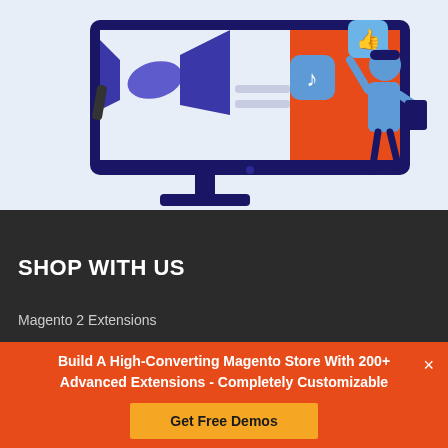[Figure (illustration): Illustration of a desktop monitor with a megaphone, social media icons (thumbs up, music note), and a person holding a tablet, on a light blue background. Digital marketing concept.]
SHOP WITH US
Magento 2 Extensions
Build A High-Converting Magento Store With 200+ Advanced Extensions - Completely Customizable
Get Free Demos